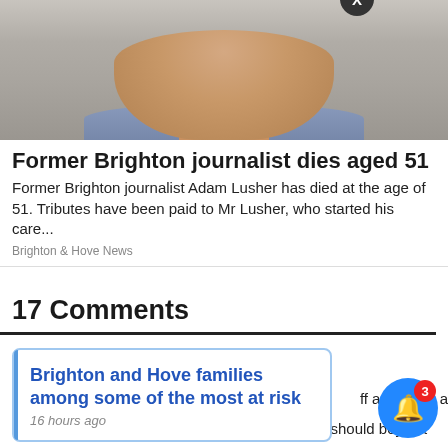[Figure (photo): Close-up photo of a man's face (lower half visible), wearing a blue shirt, light background]
Former Brighton journalist dies aged 51
Former Brighton journalist Adam Lusher has died at the age of 51. Tributes have been paid to Mr Lusher, who started his care...
Brighton & Hove News
17 Comments
Brighton and Hove families among some of the most at risk
16 hours ago
it's a shame to see him go maybe we should boycott